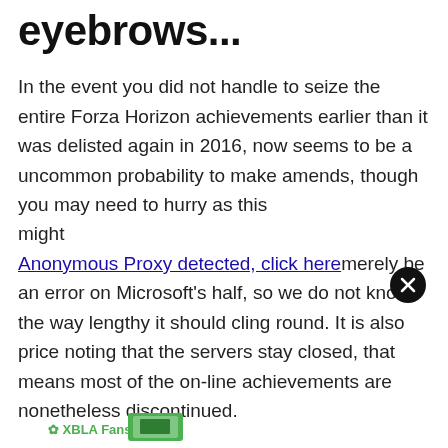eyebrows...
In the event you did not handle to seize the entire Forza Horizon achievements earlier than it was delisted again in 2016, now seems to be a uncommon probability to make amends, though you may need to hurry as this might merely be an error on Microsoft's half, so we do not know the way lengthy it should cling round. It is also price noting that the servers stay closed, that means most of the on-line achievements are nonetheless discontinued.
Forza Horizon in the stores once more!